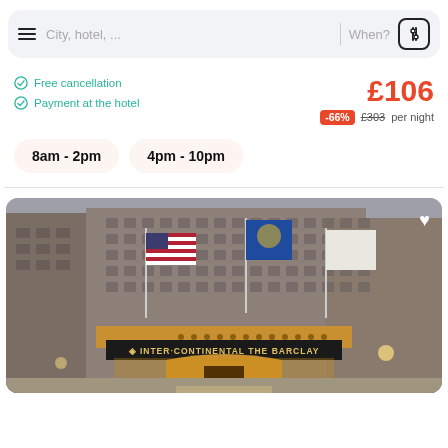City, hotel, ...   When?
Free cancellation
Payment at the hotel
£106
-66%  £303 per night
8am - 2pm
4pm - 10pm
[Figure (photo): Hotel exterior photo showing InterContinental The Barclay hotel entrance with flags and illuminated canopy signage]